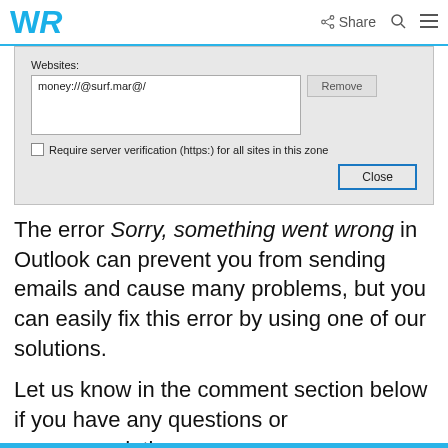WR  Share  Q  ≡
[Figure (screenshot): Windows dialog showing Websites field with 'money://@surf.mar@/' entered, a Remove button, a checkbox for 'Require server verification (https:) for all sites in this zone', and a Close button.]
The error Sorry, something went wrong in Outlook can prevent you from sending emails and cause many problems, but you can easily fix this error by using one of our solutions.
Let us know in the comment section below if you have any questions or recommendations.